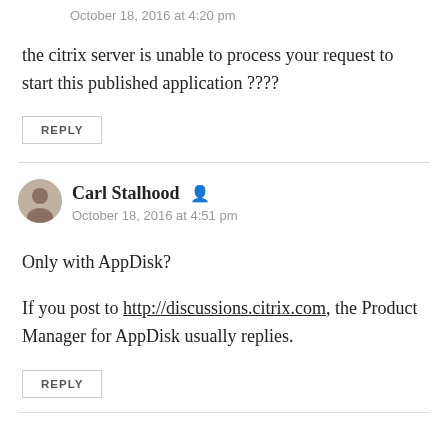October 18, 2016 at 4:20 pm
the citrix server is unable to process your request to start this published application ????
REPLY
Carl Stalhood
October 18, 2016 at 4:51 pm
Only with AppDisk?
If you post to http://discussions.citrix.com, the Product Manager for AppDisk usually replies.
REPLY